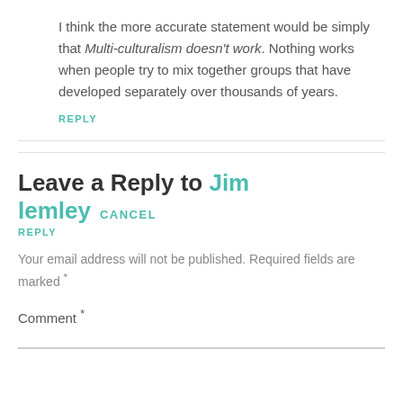I think the more accurate statement would be simply that Multi-culturalism doesn't work. Nothing works when people try to mix together groups that have developed separately over thousands of years.
REPLY
Leave a Reply to Jim lemley CANCEL REPLY
Your email address will not be published. Required fields are marked *
Comment *